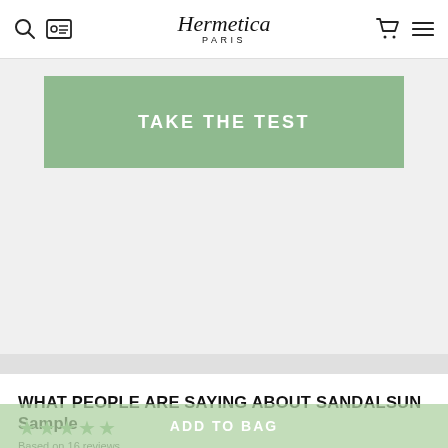Hermetica PARIS
[Figure (screenshot): Green call-to-action button with text TAKE THE TEST on a light gray background]
WHAT PEOPLE ARE SAYING ABOUT SANDALSUN Sample
Based on 16 reviews
[Figure (infographic): ADD TO BAG button bar in muted green]